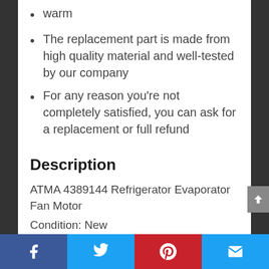warm
The replacement part is made from high quality material and well-tested by our company
For any reason you're not completely satisfied, you can ask for a replacement or full refund
Description
ATMA 4389144 Refrigerator Evaporator Fan Motor
Condition: New
Facebook | Twitter | Pinterest | Email